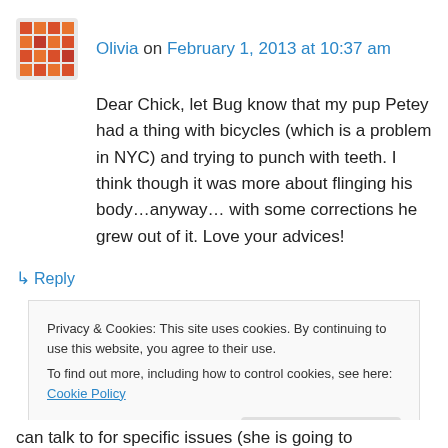Olivia on February 1, 2013 at 10:37 am
Dear Chick, let Bug know that my pup Petey had a thing with bicycles (which is a problem in NYC) and trying to punch with teeth. I think though it was more about flinging his body…anyway… with some corrections he grew out of it. Love your advices!
↳ Reply
Privacy & Cookies: This site uses cookies. By continuing to use this website, you agree to their use.
To find out more, including how to control cookies, see here: Cookie Policy
Close and accept
can talk to for specific issues (she is going to